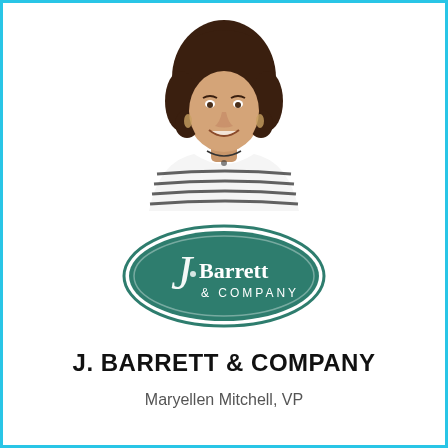[Figure (photo): Headshot photo of a smiling woman with dark curly hair wearing a black and white striped top with a necklace]
[Figure (logo): J Barrett & Company oval logo with teal/dark green background and white text]
J. BARRETT & COMPANY
Maryellen Mitchell, VP